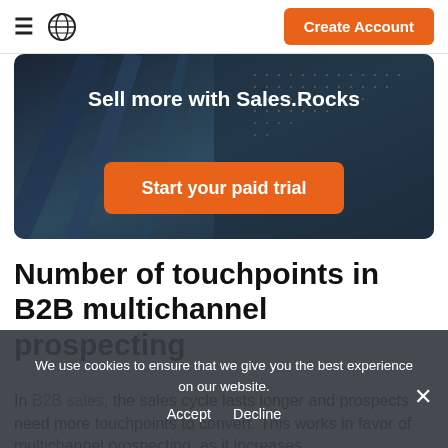≡ 🌐 Create Account
[Figure (screenshot): Hero banner with dark city/building background image, white bold text 'Sell more with Sales.Rocks', and an orange button 'Start your paid trial']
Number of touchpoints in B2B multichannel prospecting
In B2B sales, the sales cycle lasts longer and prospects need more touchpoints to convert. This works in favor of multichannel prospecting, as it increases
We use cookies to ensure that we give you the best experience on our website.
Accept   Decline